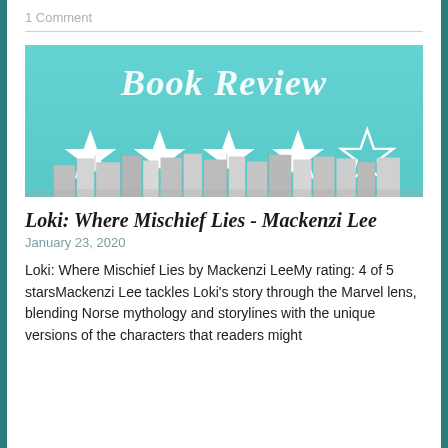1 Comment
[Figure (illustration): Book Review banner image with teal/turquoise background, script text 'Book Review', four filled white stars and one outlined white star rating, and a row of books arranged below on the lower portion of the image.]
Loki: Where Mischief Lies - Mackenzi Lee
January 23, 2020
Loki: Where Mischief Lies by Mackenzi LeeMy rating: 4 of 5 starsMackenzi Lee tackles Loki's story through the Marvel lens, blending Norse mythology and storylines with the unique versions of the characters that readers might